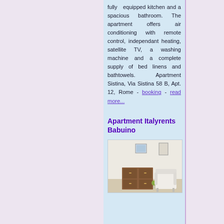fully equipped kitchen and a spacious bathroom. The apartment offers air conditioning with remote control, independant heating, satellite TV, a washing machine and a complete supply of bed linens and bathtowels. Apartment Sistina, Via Sistina 58 B, Apt. 12, Rome - booking - read more...
Apartment Italyrents Babuino
[Figure (photo): Interior photo of apartment showing a wooden dresser/cabinet and white armchair, with framed artwork on the wall]